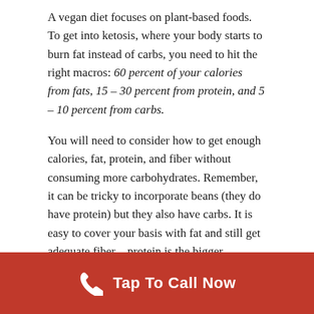A vegan diet focuses on plant-based foods. To get into ketosis, where your body starts to burn fat instead of carbs, you need to hit the right macros: 60 percent of your calories from fats, 15 – 30 percent from protein, and 5 – 10 percent from carbs.
You will need to consider how to get enough calories, fat, protein, and fiber without consuming more carbohydrates. Remember, it can be tricky to incorporate beans (they do have protein) but they also have carbs. It is easy to cover your basis with fat and still get adequate fiber – protein is the bigger struggle. You can lean heavily into nuts and seeds, which are great sources of healthy fats have fiber and protein. Scale back a little on vegan protein like tempeh, which is higher in carbs.
You will want to consume these types of foods:
Avocado
Tap To Call Now